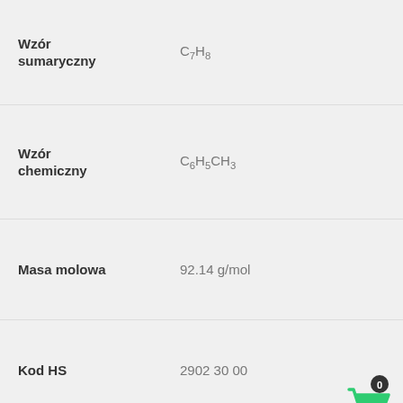| Wzór sumaryczny | C7H8 |
| Wzór chemiczny | C6H5CH3 |
| Masa molowa | 92.14 g/mol |
| Kod HS | 2902 30 00 |